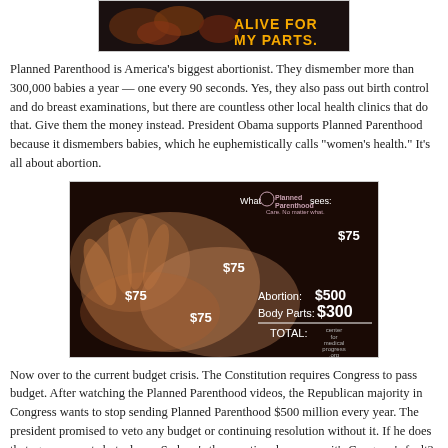[Figure (photo): Dark background banner image with text reading 'ALIVE FOR MY PARTS' in yellow/orange letters]
Planned Parenthood is America's biggest abortionist. They dismember more than 300,000 babies a year — one every 90 seconds. Yes, they also pass out birth control and do breast examinations, but there are countless other local health clinics that do that. Give them the money instead. President Obama supports Planned Parenthood because it dismembers babies, which he euphemistically calls "women's health." It's all about abortion.
[Figure (photo): Dark image showing what appears to be a fetus/baby with overlaid text: 'What Planned Parenthood sees:' with dollar amounts $75 in multiple places, and 'Abortion: $500, Body Parts: $300, TOTAL:' with Center for Medical Progress logo]
Now over to the current budget crisis. The Constitution requires Congress to pass budget. After watching the Planned Parenthood videos, the Republican majority in Congress wants to stop sending Planned Parenthood $500 million every year. The president promised to veto any budget or continuing resolution without it. If he does that, government shuts down. So here's the question: how come it's Congress's fault? It's the president's veto that shuts down the government. If the mainstream media then blames Republicans in control of Congress for the shutdown, why not point out that it was the president's veto that made it happen?
[Figure (photo): Dark image showing a person (appears to be President Obama) speaking]